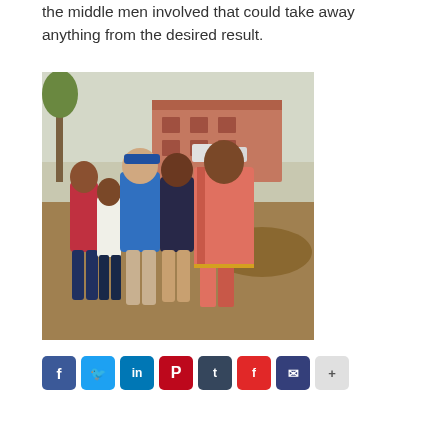the middle men involved that could take away anything from the desired result.
[Figure (photo): Group photo of five people standing together outdoors near a building under construction: two young girls on the left, a man in a blue polo shirt and cap, a teenage boy in a dark shirt, and a woman in a pink/orange sari on the right.]
Social share buttons: Facebook, Twitter, LinkedIn, Pinterest, Tumblr, Flipboard, Email, Share